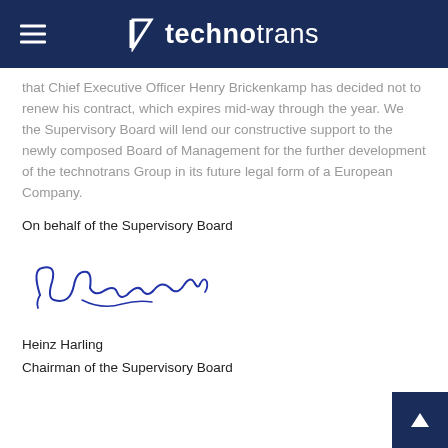technotrans
that Chief Executive Officer Henry Brickenkamp has decided not to renew his contract, which expires mid-way through the year. We the Supervisory Board will lend our constructive support to the newly composed Board of Management for the further development of the technotrans Group in its future legal form of a European Company.
On behalf of the Supervisory Board
[Figure (illustration): Handwritten signature of Heinz Harling in blue ink]
Heinz Harling
Chairman of the Supervisory Board